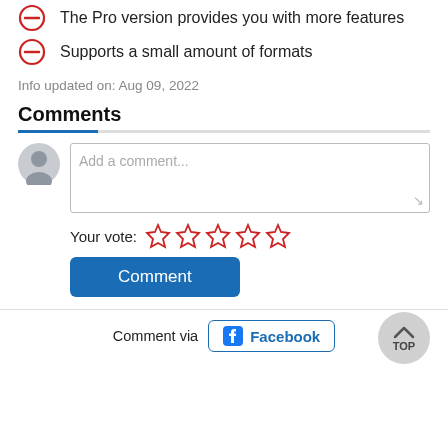The Pro version provides you with more features
Supports a small amount of formats
Info updated on: Aug 09, 2022
Comments
[Figure (other): Comment input area with user avatar placeholder and text area saying 'Add a comment...']
Your vote: (5 empty stars)
Comment (button)
Comment via Facebook